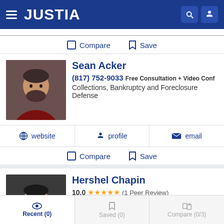JUSTIA
Compare  Save
Sean Acker
(817) 752-9033 Free Consultation + Video Conf
Collections, Bankruptcy and Foreclosure Defense
website  profile  email
Compare  Save
Hershel Chapin
10.0 ★★★★★ (1 Peer Review)
(972) 707-7482 Free Consultation + Video Conf
Recent (0)  Saved (0)  Compare (0/3)